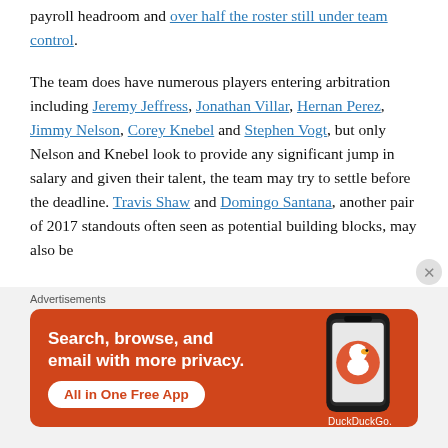payroll headroom and over half the roster still under team control.
The team does have numerous players entering arbitration including Jeremy Jeffress, Jonathan Villar, Hernan Perez, Jimmy Nelson, Corey Knebel and Stephen Vogt, but only Nelson and Knebel look to provide any significant jump in salary and given their talent, the team may try to settle before the deadline. Travis Shaw and Domingo Santana, another pair of 2017 standouts often seen as potential building blocks, may also be
Advertisements
[Figure (screenshot): DuckDuckGo advertisement banner with orange background. Text reads: Search, browse, and email with more privacy. All in One Free App. Shows DuckDuckGo logo and phone image.]